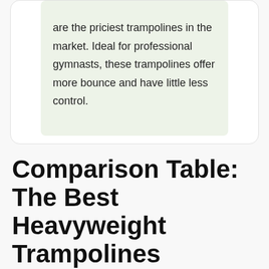are the priciest trampolines in the market. Ideal for professional gymnasts, these trampolines offer more bounce and have little less control.
Comparison Table: The Best Heavyweight Trampolines